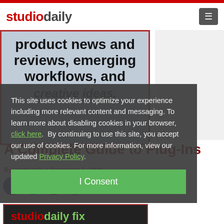studiodaily
[Figure (screenshot): Partial view of studiodaily website showing large text: product news and reviews, emerging workflows, and creative ideas.]
A Complete Guide to Plug-Ins
By studiodaily / December 1, 2006
[Figure (screenshot): Social sharing icons: Facebook, Twitter, Pinterest, Share]
This site uses cookies to optimize your experience including more relevant content and messaging. To learn more about disabling cookies in your browser, click here. By continuing to use this site, you accept our use of cookies. For more information, view our updated Privacy Policy.
[Figure (screenshot): studiodaily fix logo and promo section showing: Keeping you in the know: product news and]
I Consent